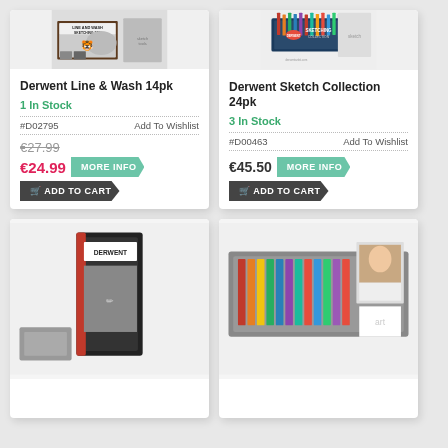[Figure (photo): Derwent Line & Wash 14pk product image showing sketching set box with tiger illustration]
Derwent Line & Wash 14pk
1 In Stock
#D02795
Add To Wishlist
€27.99
€24.99
[Figure (photo): Derwent Sketch Collection 24pk product image showing tin of sketching pencils]
Derwent Sketch Collection 24pk
3 In Stock
#D00463
Add To Wishlist
€45.50
[Figure (photo): Bottom left product image partially visible - appears to be a Derwent sketching set in black packaging]
[Figure (photo): Bottom right product image partially visible - appears to be colored pencils in a tin]